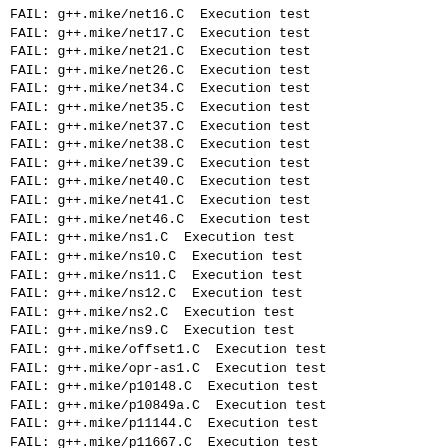FAIL: g++.mike/net16.C  Execution test
FAIL: g++.mike/net17.C  Execution test
FAIL: g++.mike/net21.C  Execution test
FAIL: g++.mike/net26.C  Execution test
FAIL: g++.mike/net34.C  Execution test
FAIL: g++.mike/net35.C  Execution test
FAIL: g++.mike/net37.C  Execution test
FAIL: g++.mike/net38.C  Execution test
FAIL: g++.mike/net39.C  Execution test
FAIL: g++.mike/net40.C  Execution test
FAIL: g++.mike/net41.C  Execution test
FAIL: g++.mike/net46.C  Execution test
FAIL: g++.mike/ns1.C  Execution test
FAIL: g++.mike/ns10.C  Execution test
FAIL: g++.mike/ns11.C  Execution test
FAIL: g++.mike/ns12.C  Execution test
FAIL: g++.mike/ns2.C  Execution test
FAIL: g++.mike/ns9.C  Execution test
FAIL: g++.mike/offset1.C  Execution test
FAIL: g++.mike/opr-as1.C  Execution test
FAIL: g++.mike/p10148.C  Execution test
FAIL: g++.mike/p10849a.C  Execution test
FAIL: g++.mike/p11144.C  Execution test
FAIL: g++.mike/p11667.C  Execution test
FAIL: g++.mike/p12306.C  Execution test
FAIL: g++.mike/p12306a.C  Execution test
FAIL: g++.mike/p1248.C  Execution test
FAIL: g++.mike/p1567.C  Execution test
FAIL: g++.mike/p16146.C  Execution test
FAIL: g++.mike/p1862.C  Execution test